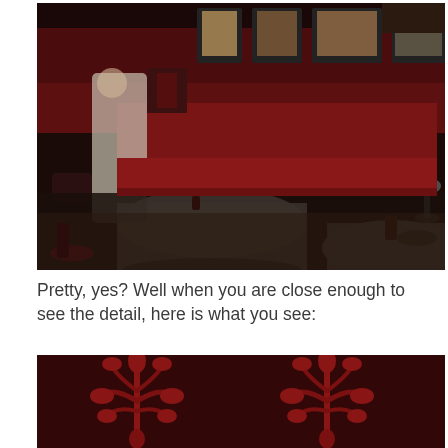[Figure (photo): Interior of a dimly lit upscale restaurant with red booths and walls. A waiter in white shirt is slightly blurred in motion, setting a table with white tablecloth. Round tables with white tablecloths visible, red candle holders, wine glasses, and illuminated artworks on the wall in the background.]
Pretty, yes? Well when you are close enough to see the detail, here is what you see:
[Figure (photo): Close-up detail shot of red-on-red decorative embossed or flocked wallpaper or upholstery pattern showing ornate floral/leaf motifs against a dark red background.]